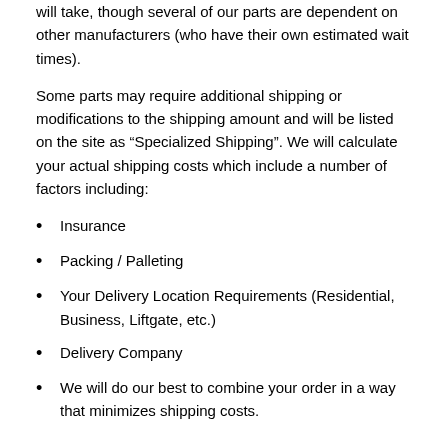will take, though several of our parts are dependent on other manufacturers (who have their own estimated wait times).
Some parts may require additional shipping or modifications to the shipping amount and will be listed on the site as “Specialized Shipping”. We will calculate your actual shipping costs which include a number of factors including:
Insurance
Packing / Palleting
Your Delivery Location Requirements (Residential, Business, Liftgate, etc.)
Delivery Company
We will do our best to combine your order in a way that minimizes shipping costs.